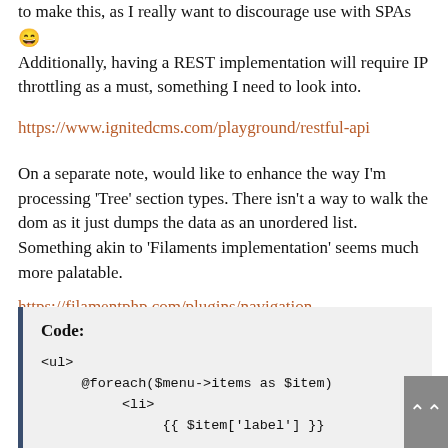to make this, as I really want to discourage use with SPAs 😄 Additionally, having a REST implementation will require IP throttling as a must, something I need to look into.
https://www.ignitedcms.com/playground/restful-api
On a separate note, would like to enhance the way I'm processing 'Tree' section types. There isn't a way to walk the dom as it just dumps the data as an unordered list. Something akin to 'Filaments implementation' seems much more palatable.
https://filamentphp.com/plugins/navigation
Code:
<ul>
    @foreach($menu->items as $item)
        <li>
            {{ $item['label'] }}

            @if($item['children'])
                <ul>
                    {{-- Render the item's children here --}}